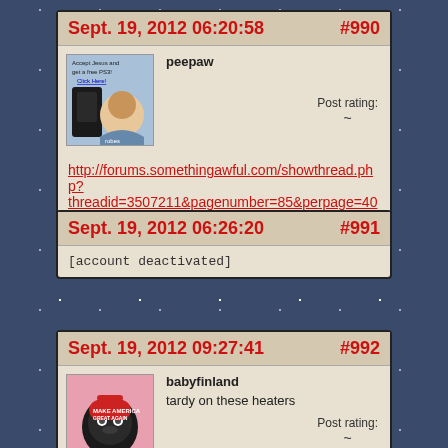Sept. 19, 2012 06:20:58 #990
peepaw
Post rating: ~
http://forums.somethingawful.com/showthread.php?threadid=3507211&pagenumber=85&perpage=40#post4076980
Sept. 19, 2012 06:26:20 #991
[account deactivated]
Sept. 19, 2012 09:27:41 #992
babyfinland
tardy on these heaters
Post rating: ~